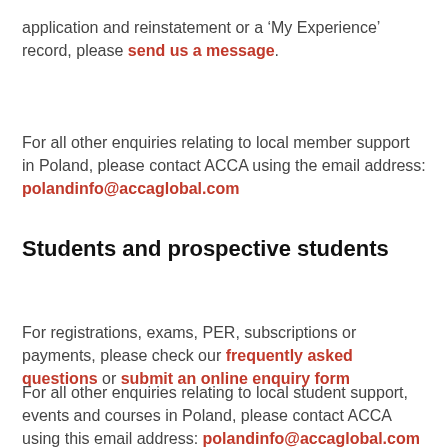application and reinstatement or a ‘My Experience’ record, please send us a message.
For all other enquiries relating to local member support in Poland, please contact ACCA using the email address: polandinfo@accaglobal.com
Students and prospective students
For registrations, exams, PER, subscriptions or payments, please check our frequently asked questions or submit an online enquiry form
For all other enquiries relating to local student support, events and courses in Poland, please contact ACCA using this email address: polandinfo@accaglobal.com